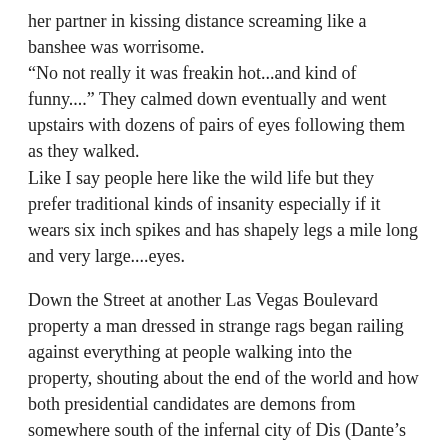her partner in kissing distance screaming like a banshee was worrisome.
“No not really it was freakin hot...and kind of funny....” They calmed down eventually and went upstairs with dozens of pairs of eyes following them as they walked.
Like I say people here like the wild life but they prefer traditional kinds of insanity especially if it wears six inch spikes and has shapely legs a mile long and very large....eyes.
Down the Street at another Las Vegas Boulevard  property a man dressed in strange rags began railing against everything at people walking into the property, shouting about the end of the world and how both presidential candidates are demons from somewhere south of the infernal city of Dis (Dante’s Inferno) Guadalajara or Russell Avenue.
A few days later the same working girls who were shouting at each other earlier in the week are in civies playing slots.
The bald headed player